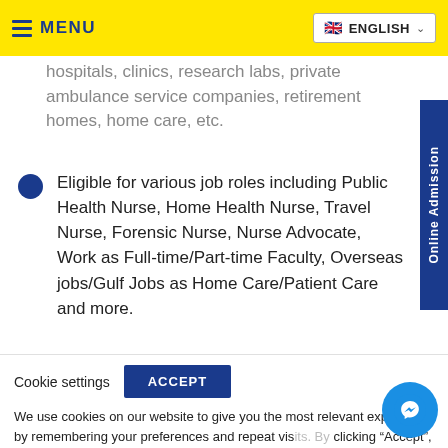MENU | ENGLISH
hospitals, clinics, research labs, private ambulance service companies, retirement homes, home care, etc.
Eligible for various job roles including Public Health Nurse, Home Health Nurse, Travel Nurse, Forensic Nurse, Nurse Advocate, Work as Full-time/Part-time Faculty, Overseas jobs/Gulf Jobs as Home Care/Patient Care and more.
Cookie settings  ACCEPT
We use cookies on our website to give you the most relevant experience by remembering your preferences and repeat visits. By clicking "Accept", you consent to the use of ALL the cookies. Read More